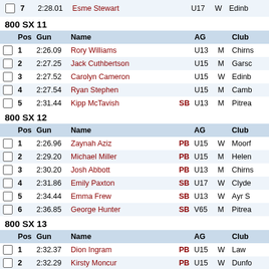|  | Pos | Gun | Name |  | AG |  | Club |
| --- | --- | --- | --- | --- | --- | --- | --- |
|  | 7 | 2:28.01 | Esme Stewart |  | U17 | W | Edinb |
800 SX 11
|  | Pos | Gun | Name |  | AG |  | Club |
| --- | --- | --- | --- | --- | --- | --- | --- |
|  | 1 | 2:26.09 | Rory Williams |  | U13 | M | Chirns |
|  | 2 | 2:27.25 | Jack Cuthbertson |  | U15 | M | Garsc |
|  | 3 | 2:27.52 | Carolyn Cameron |  | U15 | W | Edinb |
|  | 4 | 2:27.54 | Ryan Stephen |  | U15 | M | Camb |
|  | 5 | 2:31.44 | Kipp McTavish | SB | U13 | M | Pitrea |
800 SX 12
|  | Pos | Gun | Name |  | AG |  | Club |
| --- | --- | --- | --- | --- | --- | --- | --- |
|  | 1 | 2:26.96 | Zaynah Aziz | PB | U15 | W | Moorf |
|  | 2 | 2:29.20 | Michael Miller | PB | U15 | M | Helen |
|  | 3 | 2:30.20 | Josh Abbott | PB | U13 | M | Chirns |
|  | 4 | 2:31.86 | Emily Paxton | SB | U17 | W | Clyde |
|  | 5 | 2:34.44 | Emma Frew | SB | U13 | W | Ayr S |
|  | 6 | 2:36.85 | George Hunter | SB | V65 | M | Pitrea |
800 SX 13
|  | Pos | Gun | Name |  | AG |  | Club |
| --- | --- | --- | --- | --- | --- | --- | --- |
|  | 1 | 2:32.37 | Dion Ingram | PB | U15 | W | Law |
|  | 2 | 2:32.29 | Kirsty Moncur | PB | U15 | W | Dunfo |